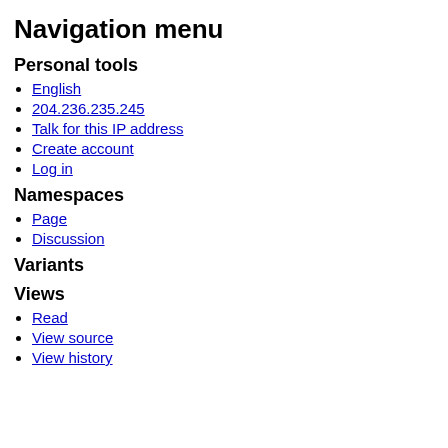Navigation menu
Personal tools
English
204.236.235.245
Talk for this IP address
Create account
Log in
Namespaces
Page
Discussion
Variants
Views
Read
View source
View history